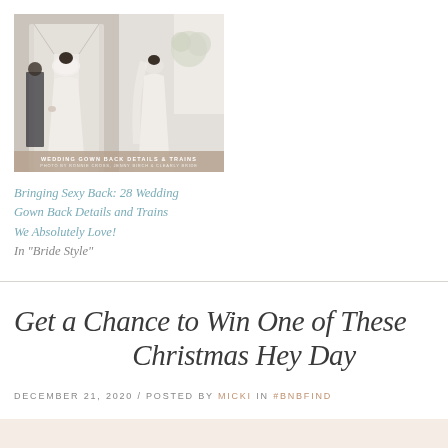[Figure (photo): Wedding gown back details and trains - composite of two photos showing brides from behind, with an overlay banner reading 'WEDDING GOWN BACK DETAILS & TRAINS']
Bringing Sexy Back: 28 Wedding Gown Back Details and Trains We Absolutely Love!
In "Bride Style"
Get a Chance to Win One of These Christmas Hey Day
DECEMBER 21, 2020 / POSTED BY MICKI IN #BNBFIND